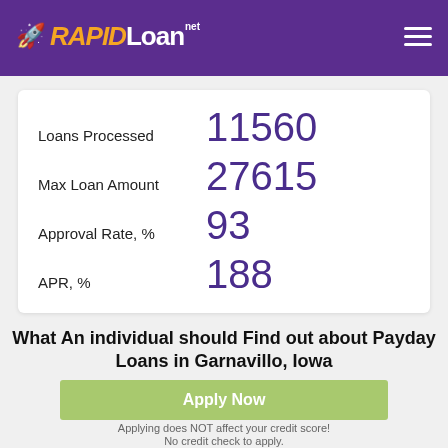RAPIDLoan.net
| Label | Value |
| --- | --- |
| Loans Processed | 11560 |
| Max Loan Amount | 27615 |
| Approval Rate, % | 93 |
| APR, % | 188 |
What An individual should Find out about Payday Loans in Garnavillo, Iowa
Apply Now
Applying does NOT affect your credit score!
No credit check to apply.
Sometimes people can confront financial difficulties. That they may need money for medical treatment, repairs, or the urgent trip. Where to get money if your